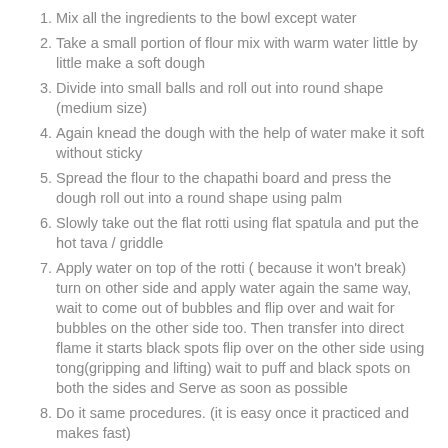Mix all the ingredients to the bowl except water
Take a small portion of flour mix with warm water little by little make a soft dough
Divide into small balls and roll out into round shape (medium size)
Again knead the dough with the help of water make it soft without sticky
Spread the flour to the chapathi board and press the dough roll out into a round shape using palm
Slowly take out the flat rotti using flat spatula and put the hot tava / griddle
Apply water on top of the rotti ( because it won't break) turn on other side and apply water again the same way, wait to come out of bubbles and flip over and wait for bubbles on the other side too. Then transfer into direct flame it starts black spots flip over on the other side using tong(gripping and lifting) wait to puff and black spots on both the sides and Serve as soon as possible
Do it same procedures. (it is easy once it practiced and makes fast)